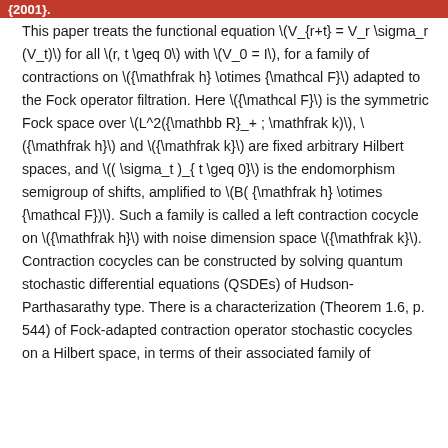{2001}.
This paper treats the functional equation \(V_{r+t} = V_r \sigma_r (V_t)\) for all \(r, t \geq 0\) with \(V_0 = I\), for a family of contractions on \({\mathfrak h} \otimes {\mathcal F}\) adapted to the Fock operator filtration. Here \({\mathcal F}\) is the symmetric Fock space over \(L^2({\mathbb R}_+ ; \mathfrak k)\), \({\mathfrak h}\) and \({\mathfrak k}\) are fixed arbitrary Hilbert spaces, and \(( \sigma_t )_{ t \geq 0}\) is the endomorphism semigroup of shifts, amplified to \(B({\mathfrak h} \otimes {\mathcal F})\). Such a family is called a left contraction cocycle on \({\mathfrak h}\) with noise dimension space \({\mathfrak k}\). Contraction cocycles can be constructed by solving quantum stochastic differential equations (QSDEs) of Hudson-Parthasarathy type. There is a characterization (Theorem 1.6, p. 544) of Fock-adapted contraction operator stochastic cocycles on a Hilbert space, in terms of their associated family of